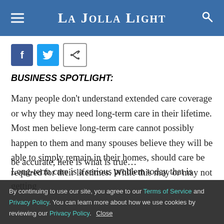La Jolla Light
[Figure (other): Social share buttons: Facebook, Twitter, and share icon]
BUSINESS SPOTLIGHT:
Many people don't understand extended care coverage or why they may need long-term care in their lifetime. Most men believe long-term care cannot possibly happen to them and many spouses believe they will be able to simply remain in their homes, should care be required for their lifetimes. While this may or may not be accurate, here is what is true…
Long-term care is a serious problem today that is getting
By continuing to use our site, you agree to our Terms of Service and Privacy Policy. You can learn more about how we use cookies by reviewing our Privacy Policy. Close